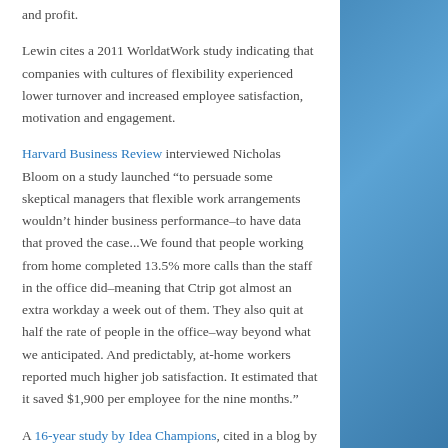and profit.
Lewin cites a 2011 WorldatWork study indicating that companies with cultures of flexibility experienced lower turnover and increased employee satisfaction, motivation and engagement.
Harvard Business Review interviewed Nicholas Bloom on a study launched “to persuade some skeptical managers that flexible work arrangements wouldn’t hinder business performance–to have data that proved the case...We found that people working from home completed 13.5% more calls than the staff in the office did–meaning that Ctrip got almost an extra workday a week out of them. They also quit at half the rate of people in the office–way beyond what we anticipated. And predictably, at-home workers reported much higher job satisfaction. It estimated that it saved $1,900 per employee for the nine months.”
A 16-year study by Idea Champions, cited in a blog by Dave